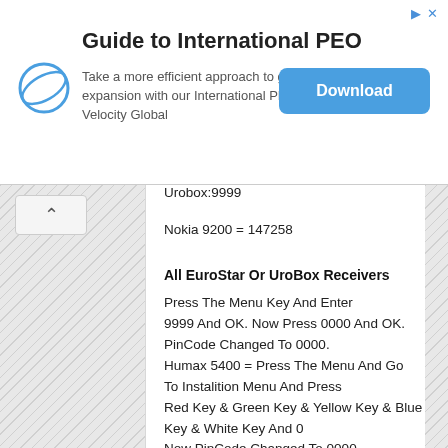[Figure (other): Advertisement banner for Velocity Global International PEO service with logo, text, and download button]
Urobox:9999
Nokia 9200 = 147258
All EuroStar Or UroBox Receivers
Press The Menu Key And Enter 9999 And OK. Now Press 0000 And OK. PinCode Changed To 0000. Humax 5400 = Press The Menu And Go To Instalition Menu And Press Red Key & Green Key & Yellow Key & Blue Key & White Key And 0 Now PinCode Changed To 0000. EuroStar Model 1935 = Press The Menu Key And Enter 9999 And OK. Galaxy = 9949 Strong FreeCam = 0235 Or 0735 TechnoSat = 3724